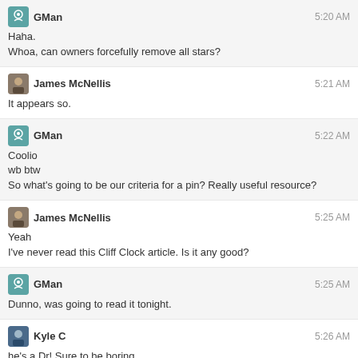GMan 5:20 AM
Haha.
Whoa, can owners forcefully remove all stars?
James McNellis 5:21 AM
It appears so.
GMan 5:22 AM
Coolio
wb btw
So what's going to be our criteria for a pin? Really useful resource?
James McNellis 5:25 AM
Yeah
I've never read this Cliff Clock article. Is it any good?
GMan 5:25 AM
Dunno, was going to read it tonight.
Kyle C 5:26 AM
he's a Dr! Sure to be boring
jk ;)
GMan 5:26 AM
Dr. Seuss wasn't boring!
James McNellis 5:27 AM